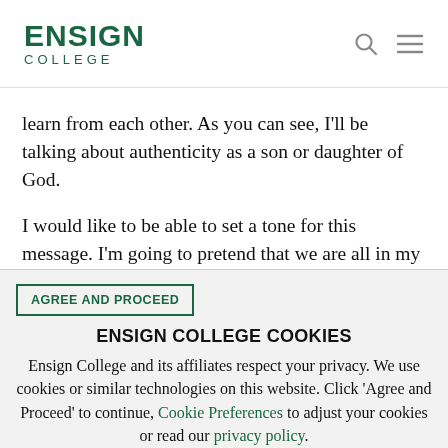ENSIGN COLLEGE
learn from each other. As you can see, I'll be talking about authenticity as a son or daughter of God.
I would like to be able to set a tone for this message. I'm going to pretend that we are all in my
AGREE AND PROCEED
ENSIGN COLLEGE COOKIES
Ensign College and its affiliates respect your privacy. We use cookies or similar technologies on this website. Click 'Agree and Proceed' to continue, Cookie Preferences to adjust your cookies or read our privacy policy.